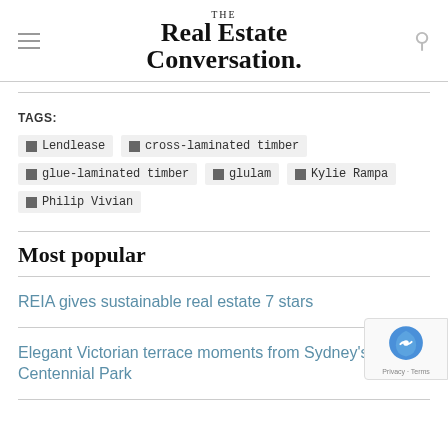THE Real Estate Conversation.
TAGS:
Lendlease
cross-laminated timber
glue-laminated timber
glulam
Kylie Rampa
Philip Vivian
Most popular
REIA gives sustainable real estate 7 stars
Elegant Victorian terrace moments from Sydney's Centennial Park